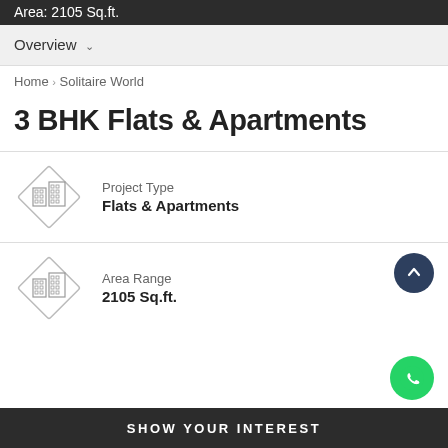Area: 2105 Sq.ft.
Overview ∨
Home › Solitaire World
3 BHK Flats & Apartments
Project Type
Flats & Apartments
Area Range
2105 Sq.ft.
SHOW YOUR INTEREST